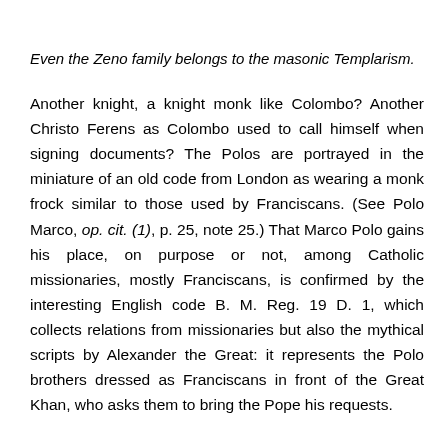Even the Zeno family belongs to the masonic Templarism.
Another knight, a knight monk like Colombo? Another Christo Ferens as Colombo used to call himself when signing documents? The Polos are portrayed in the miniature of an old code from London as wearing a monk frock similar to those used by Franciscans. (See Polo Marco, op. cit. (1), p. 25, note 25.) That Marco Polo gains his place, on purpose or not, among Catholic missionaries, mostly Franciscans, is confirmed by the interesting English code B. M. Reg. 19 D. 1, which collects relations from missionaries but also the mythical scripts by Alexander the Great: it represents the Polo brothers dressed as Franciscans in front of the Great Khan, who asks them to bring the Pope his requests.